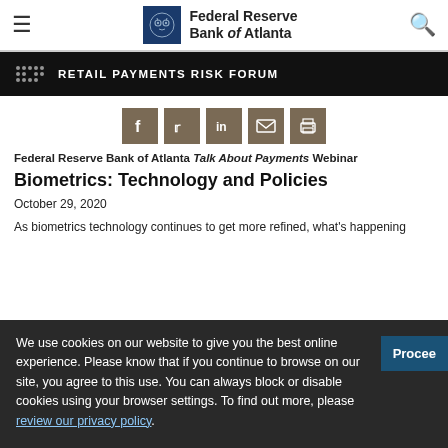Federal Reserve Bank of Atlanta
[Figure (logo): Federal Reserve Bank of Atlanta logo with owl emblem and text]
RETAIL PAYMENTS RISK FORUM
[Figure (infographic): Social sharing icons: Facebook, Twitter, LinkedIn, Email, Print]
Federal Reserve Bank of Atlanta Talk About Payments Webinar
Biometrics: Technology and Policies
October 29, 2020
As biometrics technology continues to get more refined, what's happening with…
We use cookies on our website to give you the best online experience. Please know that if you continue to browse on our site, you agree to this use. You can always block or disable cookies using your browser settings. To find out more, please review our privacy policy.